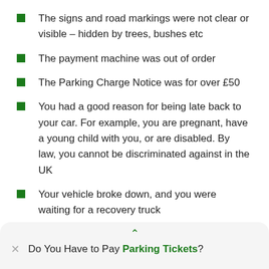The signs and road markings were not clear or visible – hidden by trees, bushes etc
The payment machine was out of order
The Parking Charge Notice was for over £50
You had a good reason for being late back to your car. For example, you are pregnant, have a young child with you, or are disabled. By law, you cannot be discriminated against in the UK
Your vehicle broke down, and you were waiting for a recovery truck
Do You Have to Pay Parking Tickets?